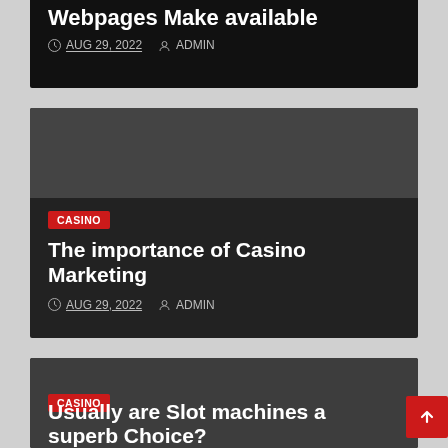Webpages Make available
AUG 29, 2022  ADMIN
[Figure (screenshot): Dark card with CASINO badge]
The importance of Casino Marketing
AUG 29, 2022  ADMIN
[Figure (screenshot): Dark card with CASINO badge]
Usually are Slot machines a superb Choice?